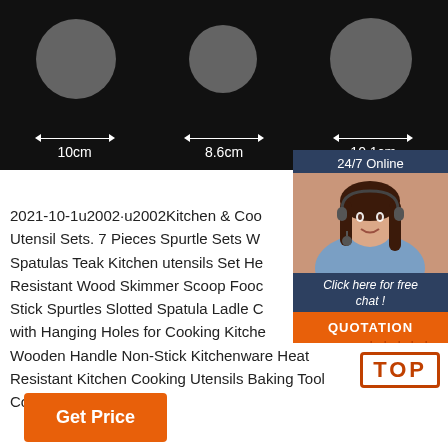[Figure (photo): Dark background product photo showing three circular kitchen utensil heads with measurement arrows indicating widths of 10cm, 8.6cm, and 10.1cm]
Kitchen & Cooking Utensil Sets
2021-10-1u2002·u2002Kitchen & Cooking Utensil Sets. 7 Pieces Spurtle Sets Wooden Spatulas Teak Kitchen utensils Set Heat Resistant Wood Skimmer Scoop Food Non Stick Spurtles Slotted Spatula Ladle Cooking with Hanging Holes for Cooking Kitchen Wooden Handle Non-Stick Kitchenware Heat Resistant Kitchen Cooking Utensils Baking Tool Cooking Tool Sets.
[Figure (photo): Customer service chat widget with agent photo, '24/7 Online' label, 'Click here for free chat!' text, and orange QUOTATION button]
[Figure (other): Orange TOP button with dotted arc above]
Get Price